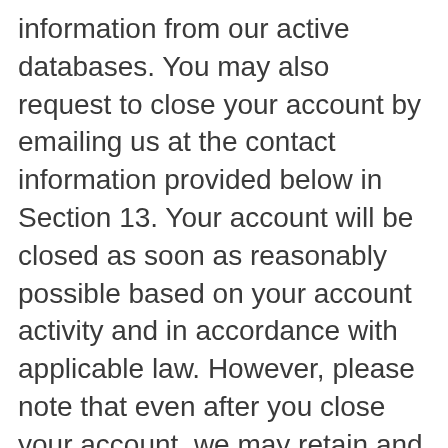information from our active databases. You may also request to close your account by emailing us at the contact information provided below in Section 13. Your account will be closed as soon as reasonably possible based on your account activity and in accordance with applicable law. However, please note that even after you close your account, we may retain and use certain of your information (such as information regarding transactions made through our Services) where permitted by law to prevent fraud, collect any fees owed, resolve disputes